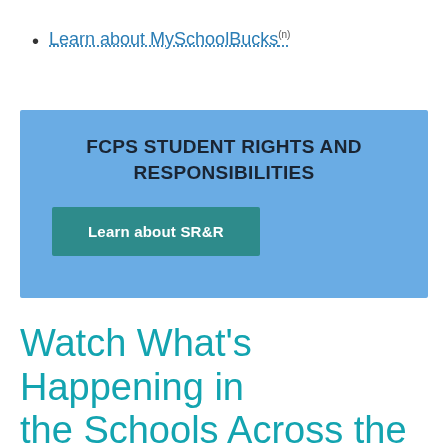Learn about MySchoolBucks(n)
[Figure (infographic): Blue banner with bold text 'FCPS STUDENT RIGHTS AND RESPONSIBILITIES' and a teal button labeled 'Learn about SR&R']
Watch What's Happening in the Schools Across the West Springfield